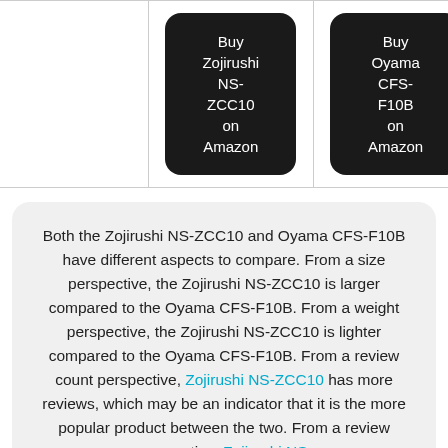[Figure (other): Comparison table row with two black rounded buttons: 'Buy Zojirushi NS-ZCC10 on Amazon' and 'Buy Oyama CFS-F10B on Amazon']
Both the Zojirushi NS-ZCC10 and Oyama CFS-F10B have different aspects to compare. From a size perspective, the Zojirushi NS-ZCC10 is larger compared to the Oyama CFS-F10B. From a weight perspective, the Zojirushi NS-ZCC10 is lighter compared to the Oyama CFS-F10B. From a review count perspective, Zojirushi NS-ZCC10 has more reviews, which may be an indicator that it is the more popular product between the two. From a review perspective, Zojirushi NS-